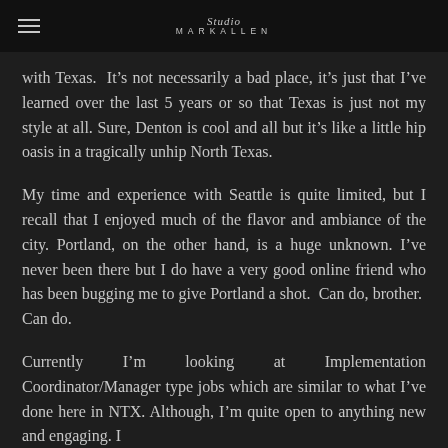Studio MARKALLEN
with Texas.  It’s not necessarily a bad place, it’s just that I’ve learned over the last 5 years or so that Texas is just not my style at all. Sure, Denton is cool and all but it’s like a little hip oasis in a tragically unhip North Texas.
My time and experience with Seattle is quite limited, but I recall that I enjoyed much of the flavor and ambiance of the city. Portland, on the other hand, is a huge unknown. I’ve never been there but I do have a very good online friend who has been bugging me to give Portland a shot. Can do, brother. Can do.
Currently I’m looking at Implementation Coordinator/Manager type jobs which are similar to what I’ve done here in NTX. Although, I’m quite open to anything new and engaging. I